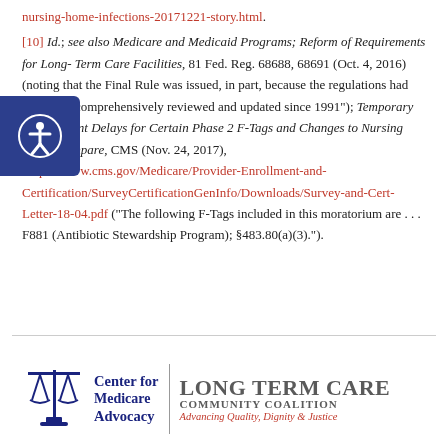nursing-home-infections-20171221-story.html.
[10] Id.; see also Medicare and Medicaid Programs; Reform of Requirements for Long- Term Care Facilities, 81 Fed. Reg. 68688, 68691 (Oct. 4, 2016) (noting that the Final Rule was issued, in part, because the regulations had "not been comprehensively reviewed and updated since 1991"); Temporary Enforcement Delays for Certain Phase 2 F-Tags and Changes to Nursing Home Compare, CMS (Nov. 24, 2017), https://www.cms.gov/Medicare/Provider-Enrollment-and-Certification/SurveyCertificationGenInfo/Downloads/Survey-and-Cert-Letter-18-04.pdf ("The following F-Tags included in this moratorium are . . . F881 (Antibiotic Stewardship Program); §483.80(a)(3).").
[Figure (logo): Center for Medicare Advocacy logo with scales of justice icon and Long Term Community Coalition branding with tagline Advancing Quality, Dignity & Justice]